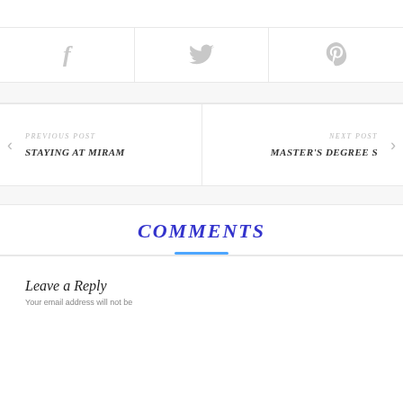[Figure (other): Social sharing icons row: Facebook (f), Twitter bird, Pinterest (P) in light gray, each in a bordered cell]
PREVIOUS POST
STAYING AT MIRAM
NEXT POST
MASTER'S DEGREE S
COMMENTS
Leave a Reply
Your email address will not be